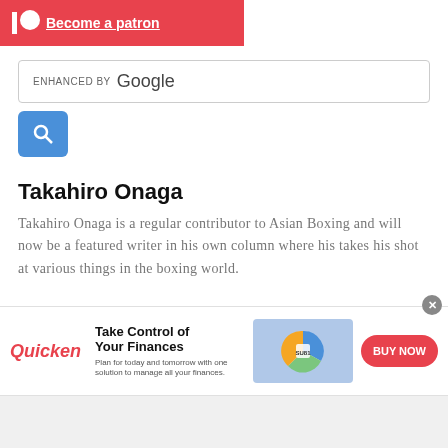[Figure (logo): Patreon banner with logo and 'Become a patron' link on red background]
[Figure (screenshot): Google enhanced search box with search button]
Takahiro Onaga
Takahiro Onaga is a regular contributor to Asian Boxing and will now be a featured writer in his own column where his takes his shot at various things in the boxing world.
[Figure (logo): Infolinks advertisement label bar]
[Figure (infographic): Quicken advertisement banner: Take Control of Your Finances. Plan for today and tomorrow with one solution to manage all your finances. BUY NOW button.]